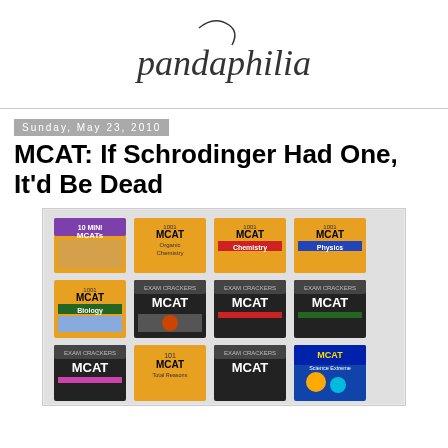pandaphilia
Sunday, May 23, 2010
MCAT: If Schrodinger Had One, It'd Be Dead
[Figure (photo): A collection of MCAT study books including '10 Mini MCATs', '1001 MCAT Organic Chemistry', '1001 MCAT Chemistry', '1001 MCAT Physics', '1001 MCAT Biology', and several Exam Crackers MCAT books arranged in a grid.]